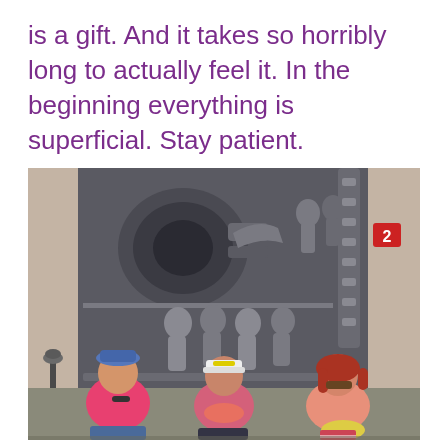is a gift. And it takes so horribly long to actually feel it. In the beginning everything is superficial. Stay patient.
[Figure (photo): Three people (two women and one man) sitting in front of an ornate dark metallic sculptural door or relief featuring alien-like figures and mechanical elements, reminiscent of H.R. Giger's art style. The man on the left wears a blue hat and pink t-shirt. The woman in the middle wears a white cap with yellow sunglasses on the brim and floral top. The woman on the right has red hair and wears sunglasses and a floral sleeveless top. A red number '2' sign is visible on the wall to the right.]